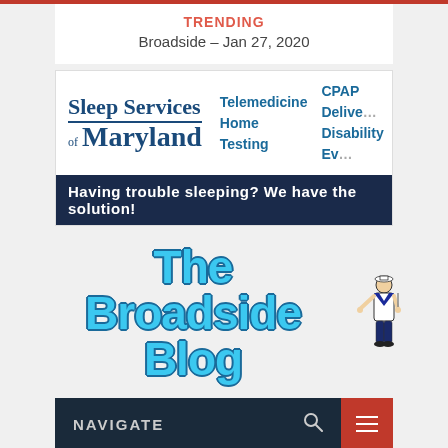TRENDING
Broadside – Jan 27, 2020
[Figure (advertisement): Sleep Services of Maryland advertisement banner with logo, Telemedicine, Home Testing, CPAP Delivery, Disability Evaluation services listed. Dark navy bottom bar reads: Having trouble sleeping? We have the solution!]
[Figure (logo): The Broadside Blog logo in large cyan bubble letters with a cartoon sailor figure to the right]
NAVIGATE
Home » Broadside moments » Hallowed Days – The Marine Corps